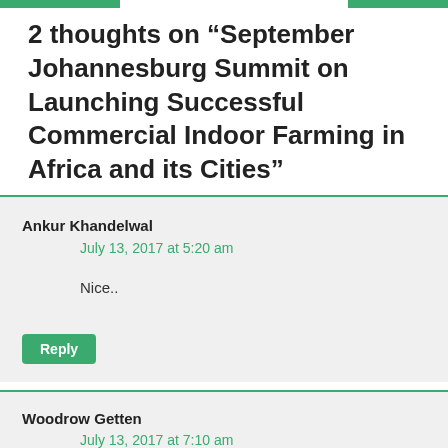2 thoughts on “September Johannesburg Summit on Launching Successful Commercial Indoor Farming in Africa and its Cities”
Ankur Khandelwal
July 13, 2017 at 5:20 am

Nice..
Woodrow Getten
July 13, 2017 at 7:10 am

I am just hungry for any information on farming/agriculture